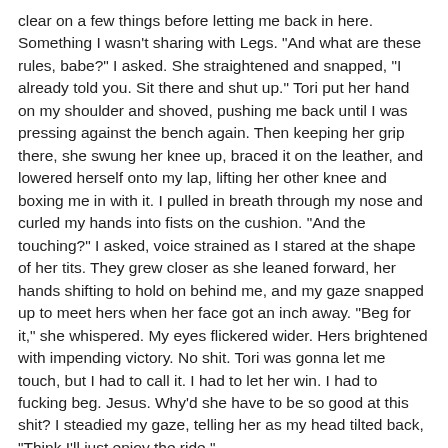clear on a few things before letting me back in here. Something I wasn’t sharing with Legs. “And what are these rules, babe?” I asked. She straightened and snapped, “I already told you. Sit there and shut up.” Tori put her hand on my shoulder and shoved, pushing me back until I was pressing against the bench again. Then keeping her grip there, she swung her knee up, braced it on the leather, and lowered herself onto my lap, lifting her other knee and boxing me in with it. I pulled in breath through my nose and curled my hands into fists on the cushion. “And the touching?” I asked, voice strained as I stared at the shape of her tits. They grew closer as she leaned forward, her hands shifting to hold on behind me, and my gaze snapped up to meet hers when her face got an inch away. “Beg for it,” she whispered. My eyes flickered wider. Hers brightened with impending victory. No shit. Tori was gonna let me touch, but I had to call it. I had to let her win. I had to fucking beg. Jesus. Why’d she have to be so good at this shit? I steadied my gaze, telling her as my head tilted back, “Think I’ll just enjoy the ride.”
[Figure (other): Placeholder image: hts-teaser-5]
[Figure (logo): Placeholder image: logo-rectangle-1-2400-x-1025]
J.Daniels is the New York Times and USA Today bestselling